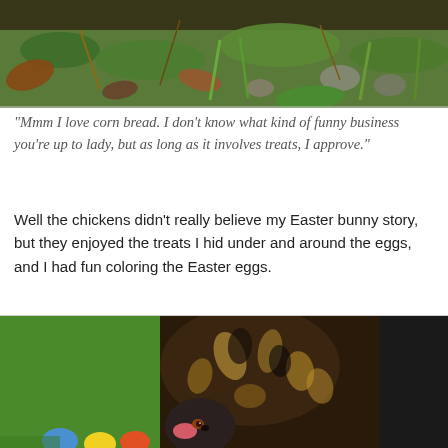[Figure (photo): Close-up photo of ground with green grass, leaves, twigs, and rocks]
“Mmm I love corn bread. I don’t know what kind of funny business you’re up to lady, but as long as it involves treats, I approve.”
Well the chickens didn’t really believe my Easter bunny story, but they enjoyed the treats I hid under and around the eggs, and I had fun coloring the Easter eggs.
[Figure (photo): Close-up photo of a speckled brown and black chicken with colorful Easter eggs visible in the foreground, green grass in background]